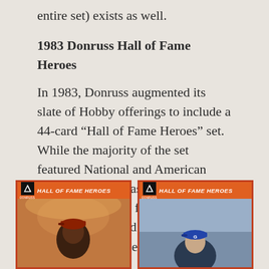entire set) exists as well.
1983 Donruss Hall of Fame Heroes
In 1983, Donruss augmented its slate of Hobby offerings to include a 44-card “Hall of Fame Heroes” set. While the majority of the set featured National and American League stars, it was notable at the time for being the first “mainstream” card set to include Negro League legends.
[Figure (photo): Two 1983 Donruss Hall of Fame Heroes baseball cards side by side. Both have orange headers with the Donruss logo and 'Hall of Fame Heroes' text. The left card shows an illustrated portrait of a baseball player in a red cap. The right card shows a photo or illustration of a player in a blue cap with the letter G.]